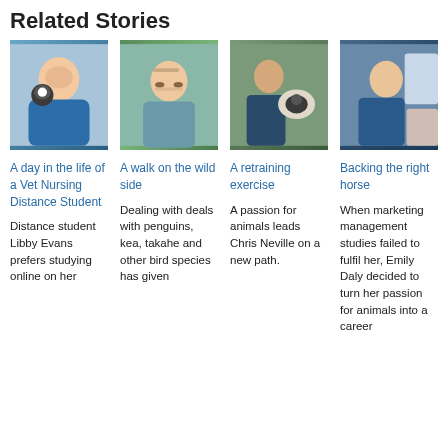Related Stories
[Figure (photo): Woman in blue scrubs smiling with a black and white dog]
[Figure (photo): Young woman with glasses in blue scrubs outdoors]
[Figure (photo): Man crouching with a black and white dog outdoors]
[Figure (photo): Woman in blue scrubs working at a veterinary station]
A day in the life of a Vet Nursing Distance Student
Distance student Libby Evans prefers studying online on her
A walk on the wild side
Dealing with deals with penguins, kea, takahe and other bird species has given
A retraining exercise
A passion for animals leads Chris Neville on a new path.
Backing the right horse
When marketing management studies failed to fulfil her, Emily Daly decided to turn her passion for animals into a career